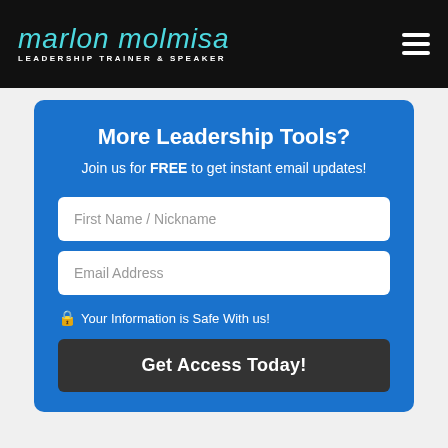marlon molmisa LEADERSHIP TRAINER & SPEAKER
More Leadership Tools?
Join us for FREE to get instant email updates!
First Name / Nickname
Email Address
🔒 Your Information is Safe With us!
Get Access Today!